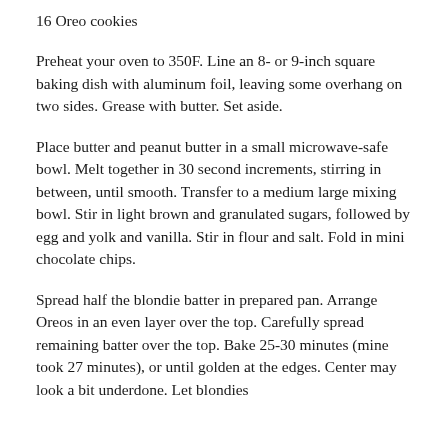16 Oreo cookies
Preheat your oven to 350F. Line an 8- or 9-inch square baking dish with aluminum foil, leaving some overhang on two sides. Grease with butter. Set aside.
Place butter and peanut butter in a small microwave-safe bowl. Melt together in 30 second increments, stirring in between, until smooth. Transfer to a medium large mixing bowl. Stir in light brown and granulated sugars, followed by egg and yolk and vanilla. Stir in flour and salt. Fold in mini chocolate chips.
Spread half the blondie batter in prepared pan. Arrange Oreos in an even layer over the top. Carefully spread remaining batter over the top. Bake 25-30 minutes (mine took 27 minutes), or until golden at the edges. Center may look a bit underdone. Let blondies